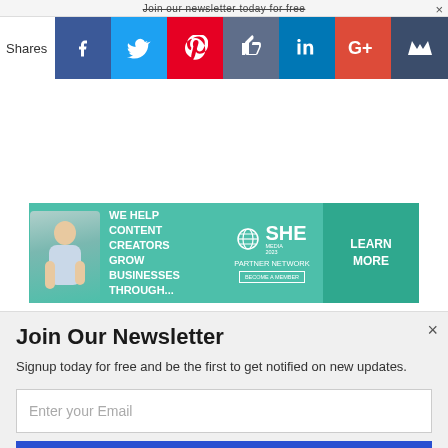Join our newsletter today for free
[Figure (infographic): Social share bar with icons for Facebook, Twitter, Pinterest, Like/thumbs-up, LinkedIn, Google+, and a crown icon. Labeled 'Shares' on the left.]
[Figure (infographic): SHE Partner Network advertisement banner. Teal background with a photo of a woman. Text reads: 'We help content creators grow businesses through...' SHE Partner Network logo, 'Become a Member' text, and a 'Learn More' button.]
Join Our Newsletter
Signup today for free and be the first to get notified on new updates.